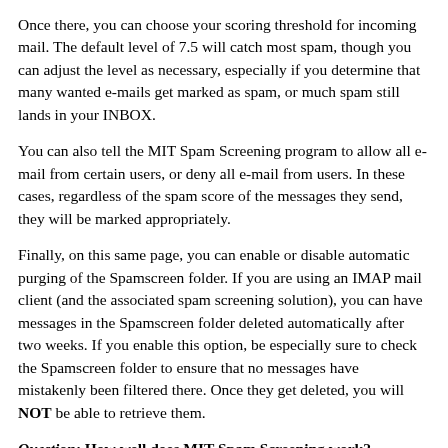Once there, you can choose your scoring threshold for incoming mail. The default level of 7.5 will catch most spam, though you can adjust the level as necessary, especially if you determine that many wanted e-mails get marked as spam, or much spam still lands in your INBOX.
You can also tell the MIT Spam Screening program to allow all e-mail from certain users, or deny all e-mail from users. In these cases, regardless of the spam score of the messages they send, they will be marked appropriately.
Finally, on this same page, you can enable or disable automatic purging of the Spamscreen folder. If you are using an IMAP mail client (and the associated spam screening solution), you can have messages in the Spamscreen folder deleted automatically after two weeks. If you enable this option, be especially sure to check the Spamscreen folder to ensure that no messages have mistakenly been filtered there. Once they get deleted, you will NOT be able to retrieve them.
Question: How well does MIT Spam Screening work?
Answer: The MIT Spam Screening software usually works well. Reports vary, but it should catch 90% of your spam. Its default setting is conservative, though, so you will still find some spam in your INBOX.